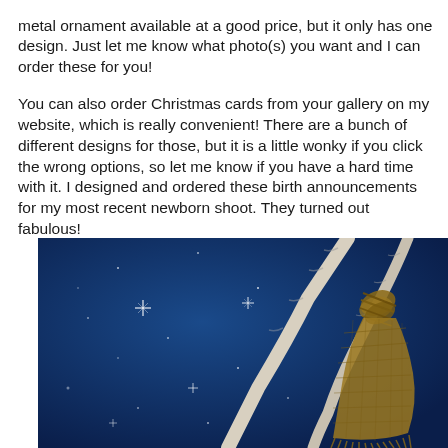metal ornament available at a good price, but it only has one design.  Just let me know what photo(s) you want and I can order these for you!
You can also order Christmas cards from your gallery on my website, which is really convenient!  There are a bunch of different designs for those, but it is a little wonky if you click the wrong options, so let me know if you have a hard time with it. I designed and ordered these birth announcements for my most recent newborn shoot.  They turned out fabulous!
[Figure (photo): Photo of birch branches tied together with burlap/jute twine against a dark blue starry background, forming a teepee-like structure.]